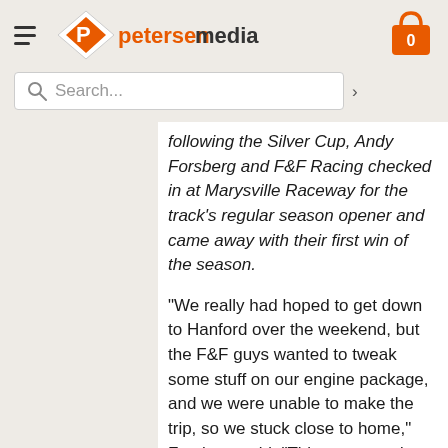petersenmedia
following the Silver Cup, Andy Forsberg and F&F Racing checked in at Marysville Raceway for the track's regular season opener and came away with their first win of the season.
“We really had hoped to get down to Hanford over the weekend, but the F&F guys wanted to tweak some stuff on our engine package, and we were unable to make the trip, so we stuck close to home,” Forsberg said. “Things seemed to go pretty well for us, and hopefully the weather holds, and we